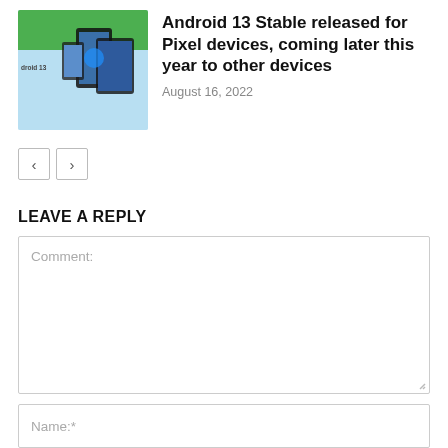[Figure (screenshot): Article thumbnail showing Android 13 promo image with phones on a blue background, labeled 'droid 13']
Android 13 Stable released for Pixel devices, coming later this year to other devices
August 16, 2022
< >  (pagination buttons)
LEAVE A REPLY
Comment:
Name:*